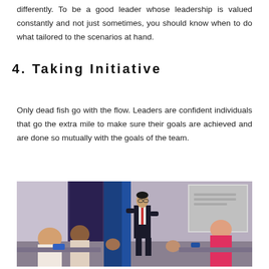differently. To be a good leader whose leadership is valued constantly and not just sometimes, you should know when to do what tailored to the scenarios at hand.
4. Taking Initiative
Only dead fish go with the flow. Leaders are confident individuals that go the extra mile to make sure their goals are achieved and are done so mutually with the goals of the team.
[Figure (photo): A young man in a suit and tie presenting at the front of a room to a seated audience. A projection screen is visible in the background. The setting appears to be a seminar or workshop.]